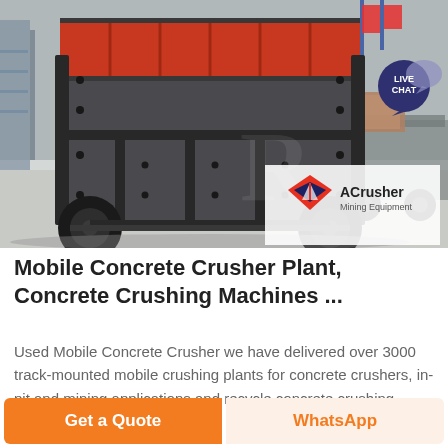[Figure (photo): Front view of a large mobile concrete crusher / impact crusher machine on wheels, in an industrial warehouse setting. Machine has dark grey/black metal body with orange interior hopper. ACrusher Mining Equipment logo visible in bottom right of photo. A Live Chat speech bubble overlay appears in the upper right corner.]
Mobile Concrete Crusher Plant, Concrete Crushing Machines ...
Used Mobile Concrete Crusher we have delivered over 3000 track-mounted mobile crushing plants for concrete crushers, in-pit and mining applications and recycle concrete crushing